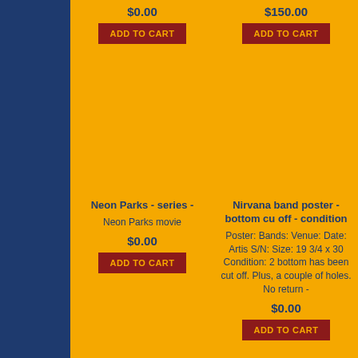$0.00
$150.00
ADD TO CART
ADD TO CART
Neon Parks - series -
Neon Parks movie
$0.00
ADD TO CART
Nirvana band poster - bottom cu off - condition
Poster: Bands: Venue: Date: Artis S/N: Size: 19 3/4 x 30 Condition: 2 bottom has been cut off. Plus, a couple of holes. No return -
$0.00
ADD TO CART